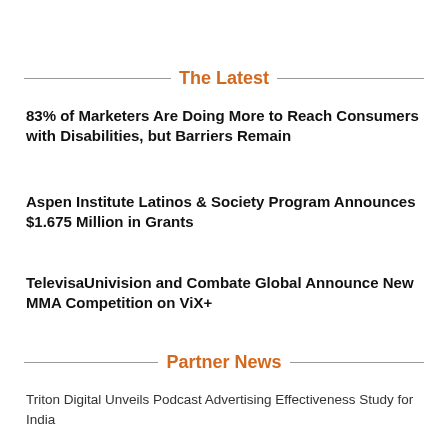The Latest
83% of Marketers Are Doing More to Reach Consumers with Disabilities, but Barriers Remain
Aspen Institute Latinos & Society Program Announces $1.675 Million in Grants
TelevisaUnivision and Combate Global Announce New MMA Competition on ViX+
Partner News
Triton Digital Unveils Podcast Advertising Effectiveness Study for India